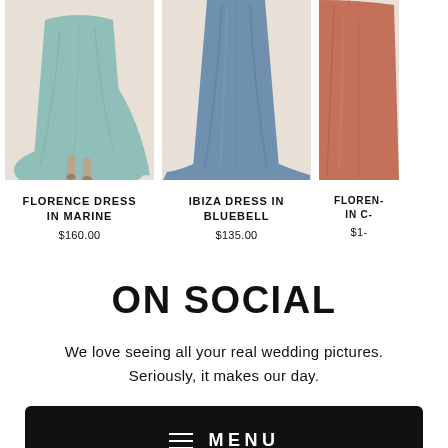[Figure (photo): Fashion product photo of Florence Dress in Marine - mint/sage green flowing maxi dress, lower half visible on model]
FLORENCE DRESS IN MARINE
$160.00
[Figure (photo): Fashion product photo of Ibiza Dress in Bluebell - dusty blue flowing maxi dress, lower half visible on model]
IBIZA DRESS IN BLUEBELL
$135.00
[Figure (photo): Fashion product photo of Florence Dress (partial, cut off) - rust/terracotta orange dress, partially visible]
FLOREN... IN C...
$1...
ON SOCIAL
We love seeing all your real wedding pictures. Seriously, it makes our day.
MENU